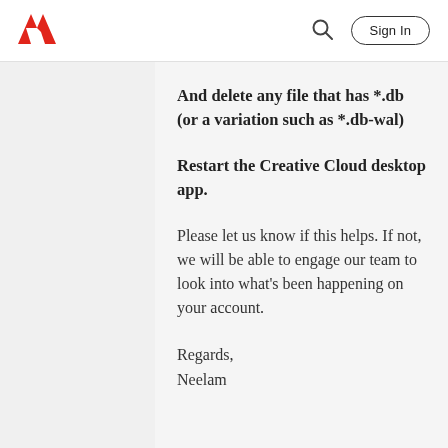Adobe — Sign In
And delete any file that has *.db (or a variation such as *.db-wal)
Restart the Creative Cloud desktop app.
Please let us know if this helps. If not, we will be able to engage our team to look into what's been happening on your account.
Regards,
Neelam